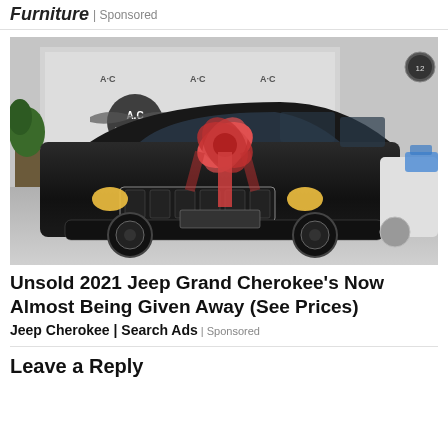Furniture | Sponsored
[Figure (photo): Black Jeep Grand Cherokee SUV with a large red decorative bow on the hood, parked inside a car dealership showroom with an A.C. Autos of Chicago branded backdrop.]
Unsold 2021 Jeep Grand Cherokee's Now Almost Being Given Away (See Prices)
Jeep Cherokee | Search Ads | Sponsored
Leave a Reply